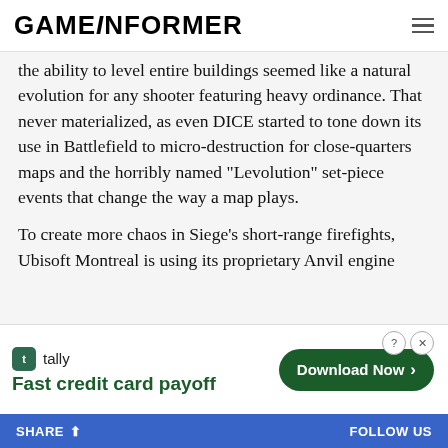GAMEINFORMER
the ability to level entire buildings seemed like a natural evolution for any shooter featuring heavy ordinance. That never materialized, as even DICE started to tone down its use in Battlefield to micro-destruction for close-quarters maps and the horribly named "Levolution" set-piece events that change the way a map plays.
To create more chaos in Siege's short-range firefights, Ubisoft Montreal is using its proprietary Anvil engine to...
[Figure (other): Tally advertisement banner: Fast credit card payoff, Download Now button]
SHARE   FOLLOW US